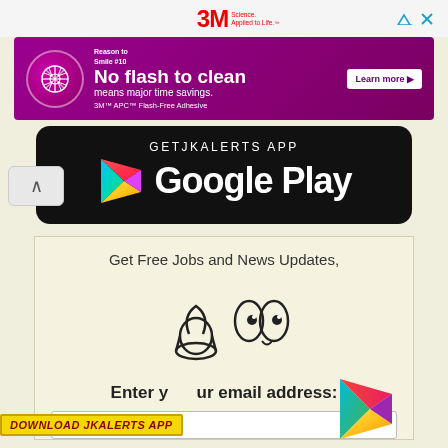[Figure (logo): 3M Science. Applied to Life. logo in red with ad icons]
[Figure (infographic): 3M purple ad banner: Reason to Smile #10, No flash to clean means major time savings. 3M APCFlash-Free Adhesive. Learn more button.]
[Figure (screenshot): GETJKALERTS APP Google Play black banner with Google Play triangle logo]
Get Free Jobs and News Updates,
[Figure (illustration): Hand and eyes emoji illustration]
Enter your email address:
DOWNLOAD JKALERTS APP